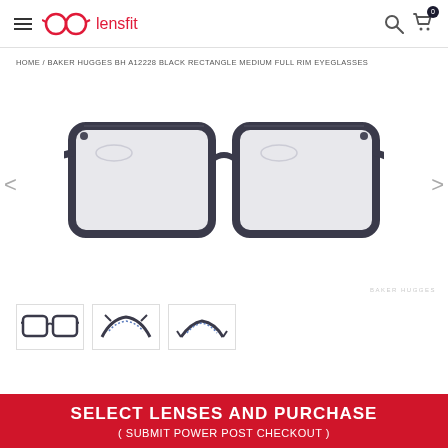lensfit
HOME / BAKER HUGGES BH A12228 BLACK RECTANGLE MEDIUM FULL RIM EYEGLASSES
[Figure (photo): Front view of Baker Hugges BH A12228 black rectangle full rim eyeglasses on white background]
[Figure (photo): Thumbnail front view of eyeglasses]
[Figure (photo): Thumbnail angled side view of eyeglasses]
[Figure (photo): Thumbnail top-angled view of eyeglasses]
SELECT LENSES AND PURCHASE
( SUBMIT POWER POST CHECKOUT )